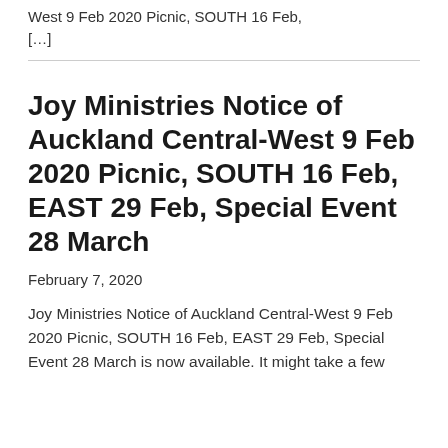West 9 Feb 2020 Picnic, SOUTH 16 Feb, […]
Joy Ministries Notice of Auckland Central-West 9 Feb 2020 Picnic, SOUTH 16 Feb, EAST 29 Feb, Special Event 28 March
February 7, 2020
Joy Ministries Notice of Auckland Central-West 9 Feb 2020 Picnic, SOUTH 16 Feb, EAST 29 Feb, Special Event 28 March is now available. It might take a few